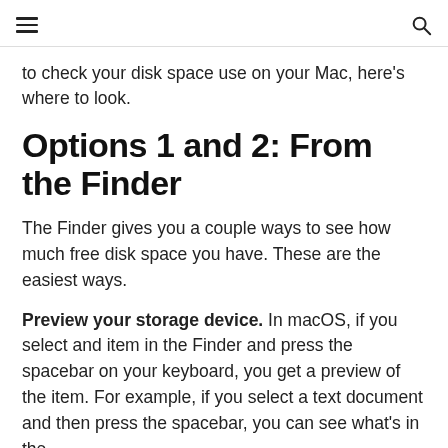≡  [search icon]
to check your disk space use on your Mac, here's where to look.
Options 1 and 2: From the Finder
The Finder gives you a couple ways to see how much free disk space you have. These are the easiest ways.
Preview your storage device. In macOS, if you select and item in the Finder and press the spacebar on your keyboard, you get a preview of the item. For example, if you select a text document and then press the spacebar, you can see what's in the